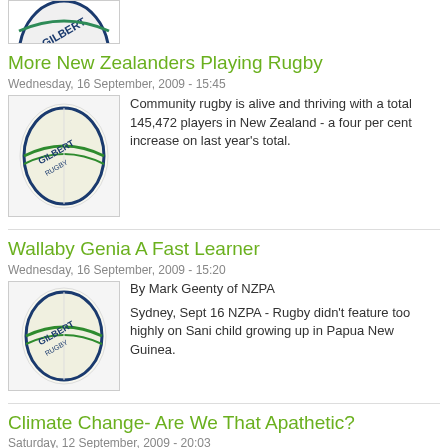[Figure (photo): Partial rugby ball image at top of page (cropped)]
More New Zealanders Playing Rugby
Wednesday, 16 September, 2009 - 15:45
[Figure (photo): Gilbert rugby ball]
Community rugby is alive and thriving with a total 145,472 players in New Zealand - a four per cent increase on last year's total.
Wallaby Genia A Fast Learner
Wednesday, 16 September, 2009 - 15:20
[Figure (photo): Gilbert rugby ball]
By Mark Geenty of NZPA
Sydney, Sept 16 NZPA - Rugby didn't feature too highly on Sani Luveni's radar as a child growing up in Papua New Guinea.
Climate Change- Are We That Apathetic?
Saturday, 12 September, 2009 - 20:03
[Figure (photo): Dark image thumbnail]
Do we really care....about anything?